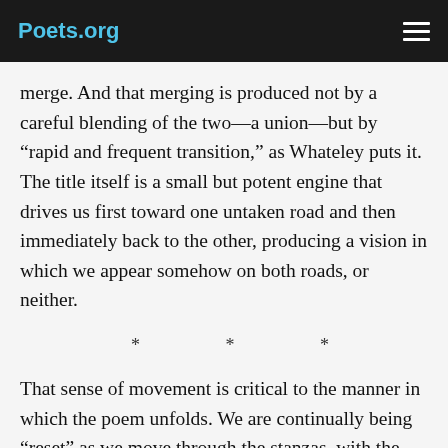Poets.org
merge. And that merging is produced not by a careful blending of the two—a union—but by “rapid and frequent transition,” as Whateley puts it. The title itself is a small but potent engine that drives us first toward one untaken road and then immediately back to the other, producing a vision in which we appear somehow on both roads, or neither.
* * *
That sense of movement is critical to the manner in which the poem unfolds. We are continually being “reset” as we move through the stanzas, with the poem pivoting from one